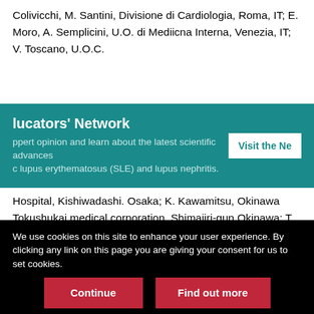Colivicchi, M. Santini, Divisione di Cardiologia, Roma, IT; E. Moro, A. Semplicini, U.O. di Mediicna Interna, Venezia, IT; V. Toscano, U.O.C. ...
[Figure (other): Teal banner advertising an Educators' Network with text about expert opinion and scientific advances in lupus erythematosus (SLE) and lupus nephritis, and a 'Visit the Ne...' button]
Hospital, Kishiwadashi. Osaka; K. Kawamitsu, Okinawa Tokushukai medical corporation, Shimajiri-gun,Okinawa; T. Takenaka, National Hospital Organization Hokkaido Medical Center, Nishi-ku, Sapporoshi, Hokkaido; H. Takahashi, Iryouhouijneiwakai Minamiakatsuka clinic, Mitoshi, Ibaraki; F. Hojo, Kobari General Hospital, Nodashi, Chiba; Y. Onishi, The Institute for Adult Diseases, Chuo-ku, Tokyo; K. Izumino, Fujikoshi Hospital, Toyamashi, Toyama;
We use cookies on this site to enhance your user experience. By clicking any link on this page you are giving your consent for us to set cookies.